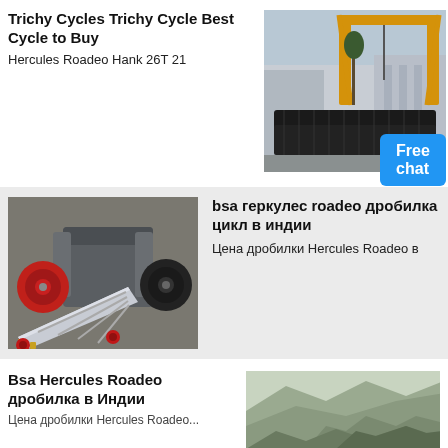Trichy Cycles Trichy Cycle Best Cycle to Buy
Hercules Roadeo Hank 26T 21
[Figure (photo): Industrial crane with yellow gantry over large black metal components outdoors, with buildings in background]
bsa геркулес roadeo дробилка цикл в индии
Цена дробилки Hercules Roadeo в
[Figure (photo): Industrial jaw crusher machine with grey metal body and red/black wheels on concrete floor]
Bsa Hercules Roadeo дробилка в Индии
Цена дробилки Hercules Roadeo...
[Figure (photo): Rocky mountain hillside landscape]